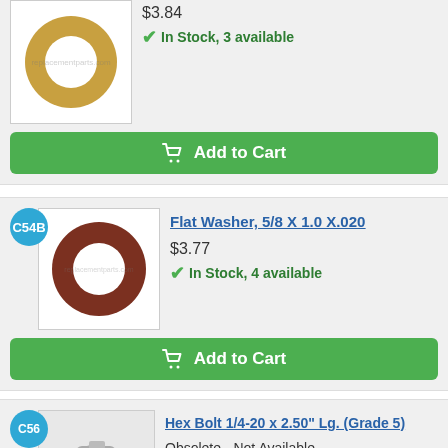[Figure (photo): Top item partial: product image of a gold/brass flat washer ring on white background]
$3.84
In Stock, 3 available
Add to Cart
C54B
[Figure (photo): Flat washer product image: dark brown/red ring washer on white background with watermark]
Flat Washer, 5/8 X 1.0 X.020
$3.77
In Stock, 4 available
Add to Cart
C56
[Figure (photo): Photo Not Available placeholder image with camera icon]
Hex Bolt 1/4-20 x 2.50" Lg. (Grade 5)
Obsolete - Not Available
$2.99